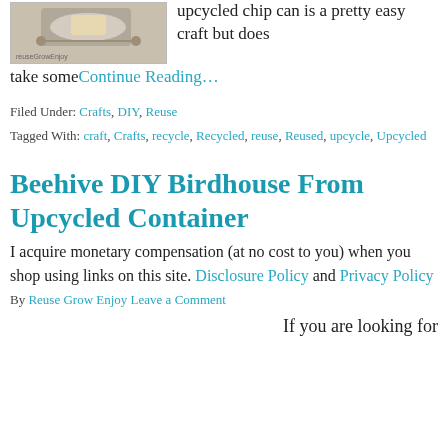[Figure (photo): Image of a decorative beaded garland craft project with tassels on a white background]
upcycled chip can is a pretty easy craft but does take some
Continue Reading…
Filed Under: Crafts, DIY, Reuse
Tagged With: craft, Crafts, recycle, Recycled, reuse, Reused, upcycle, Upcycled
Beehive DIY Birdhouse From Upcycled Container
I acquire monetary compensation (at no cost to you) when you shop using links on this site. Disclosure Policy and Privacy Policy
By Reuse Grow Enjoy Leave a Comment
If you are looking for